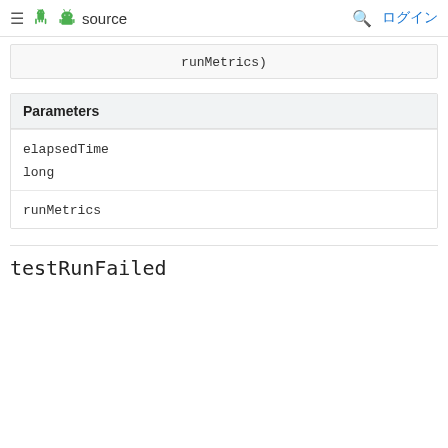≡ 🤖 source  🔍 ログイン
runMetrics)
| Parameters |
| --- |
| elapsedTime | long |
| runMetrics |  |
testRunFailed